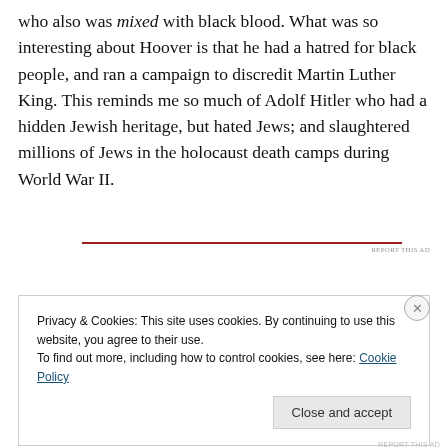who also was mixed with black blood. What was so interesting about Hoover is that he had a hatred for black people, and ran a campaign to discredit Martin Luther King. This reminds me so much of Adolf Hitler who had a hidden Jewish heritage, but hated Jews; and slaughtered millions of Jews in the holocaust death camps during World War II.
Privacy & Cookies: This site uses cookies. By continuing to use this website, you agree to their use.
To find out more, including how to control cookies, see here: Cookie Policy